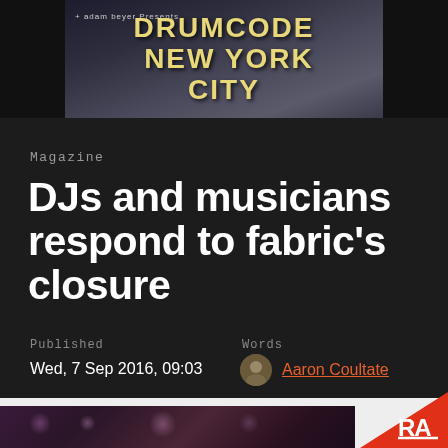[Figure (photo): Drumcode New York City event banner with dark atmospheric city background and yellow text]
Magazine
DJs and musicians respond to fabric's closure
Published
Wed, 7 Sep 2016, 09:03
Words
Aaron Coultate
[Figure (photo): Blurred dark photo of DJ equipment and atmosphere at a club event]